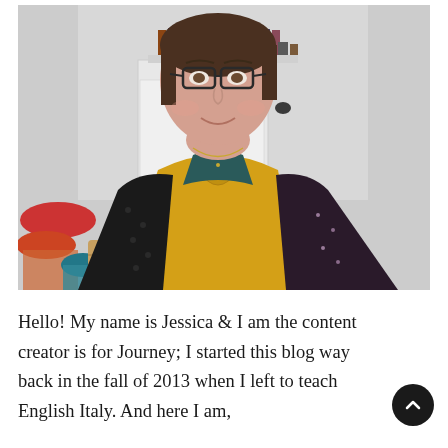[Figure (photo): A woman wearing glasses and a yellow wrap top with black lace sleeves, photographed from chest up. Background shows a home interior with white cabinets, bookshelves, and colorful items on the lower left.]
Hello! My name is Jessica & I am the content creator is for Journey; I started this blog way back in the fall of 2013 when I left to teach English Italy. And here I am,